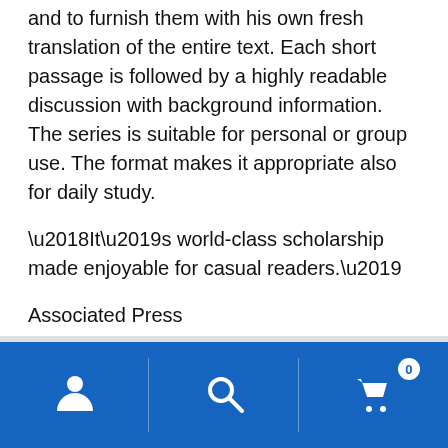and to furnish them with his own fresh translation of the entire text. Each short passage is followed by a highly readable discussion with background information. The series is suitable for personal or group use. The format makes it appropriate also for daily study.
‘It’s world-class scholarship made enjoyable for casual readers.’
Associated Press
‘This enterprise is probably the most exciting thing to have happened in Christian education in Britain for many years.’
[Figure (other): Blue mobile navigation bar with three icons: user/person icon, search/magnifying glass icon, and shopping cart icon with badge showing 0]